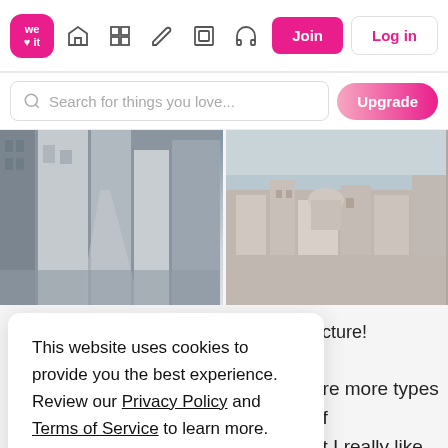[Figure (screenshot): We Heart It website navigation bar with logo, icons, Join and Log in buttons]
[Figure (screenshot): Search bar with 'Search for things you love...' placeholder and Upgrade button]
[Figure (photo): Two photo thumbnails - left shows Parisian street/buildings in black and white, right shows coastal town (Positano) in muted tones]
This website uses cookies to provide you the best experience. Review our Privacy Policy and Terms of Service to learn more.
Accept Cookies
Only users 16 years or older may use We Heart It.
ecture!
are more types of
ut I really like tea
de We...
[Figure (photo): Two bottom photo thumbnails partially visible]